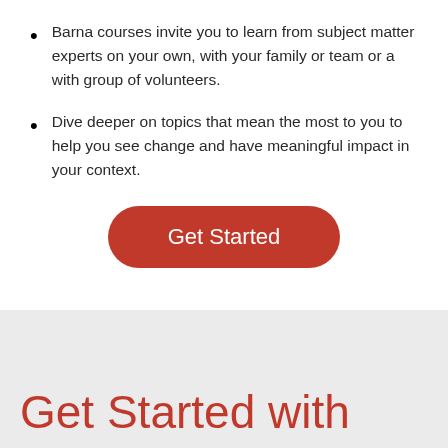Barna courses invite you to learn from subject matter experts on your own, with your family or team or a with group of volunteers.
Dive deeper on topics that mean the most to you to help you see change and have meaningful impact in your context.
Get Started
Get Started with